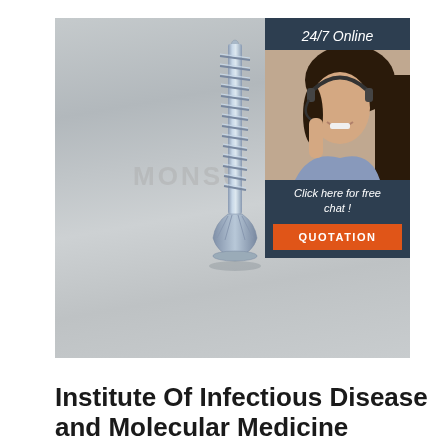[Figure (photo): A metallic self-tapping screw standing upright on a gray surface, with a watermark text 'MONSU' partially visible. Overlaid on the right side is a customer service chat widget showing '24/7 Online', a photo of a smiling woman with a headset, text 'Click here for free chat!', and an orange 'QUOTATION' button.]
Institute Of Infectious Disease and Molecular Medicine